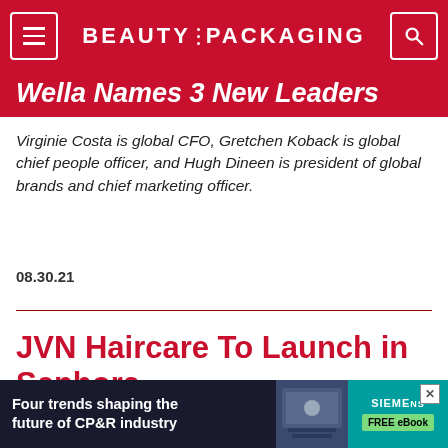BEAUTY PACKAGING
Wella Names 3 New Leaders
Virginie Costa is global CFO, Gretchen Koback is global chief people officer, and Hugh Dineen is president of global brands and chief marketing officer.
08.30.21
JVN Haircare To Launch in Sephora
The new 'clean' hair care line is from hair stylist Jonathan Van Ness
08.27.21
[Figure (advertisement): Siemens ad: Four trends shaping the future of CP&R industry, FREE eBook]